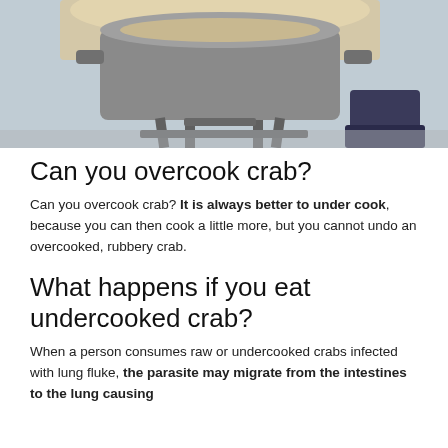[Figure (photo): A large metal pot boiling on an outdoor propane or gas cooker stand, with a person's boot visible in the background to the right.]
Can you overcook crab?
Can you overcook crab? It is always better to under cook, because you can then cook a little more, but you cannot undo an overcooked, rubbery crab.
What happens if you eat undercooked crab?
When a person consumes raw or undercooked crabs infected with lung fluke, the parasite may migrate from the intestines to the lung causing